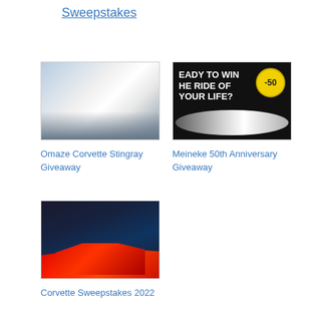Sweepstakes
[Figure (photo): White Corvette Stingray sports car on a road, aerial view]
Omaze Corvette Stingray Giveaway
[Figure (photo): Meineke 50th Anniversary giveaway advertisement with text 'READY TO WIN THE RIDE OF YOUR LIFE?' and a classic white Corvette]
Meineke 50th Anniversary Giveaway
[Figure (photo): Two red Corvette sports cars parked on a city street at night]
Corvette Sweepstakes 2022